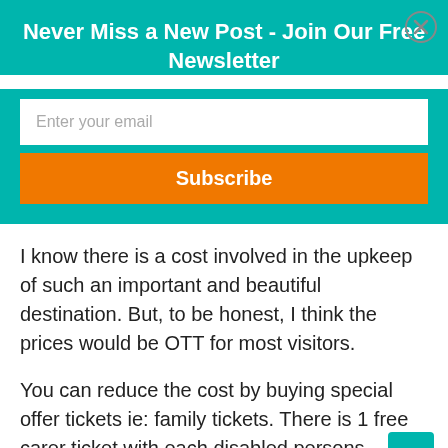Never Miss a New Post - Join Our Free Newsletter
Enter your email
Subscribe
I know there is a cost involved in the upkeep of such an important and beautiful destination. But, to be honest, I think the prices would be OTT for most visitors.
You can reduce the cost by buying special offer tickets ie: family tickets. There is 1 free carer ticket with each disabled persons concession ticket.